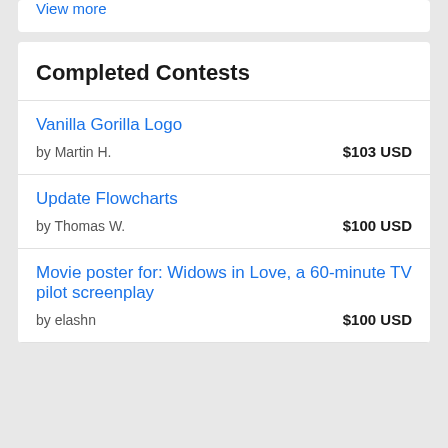View more
Completed Contests
Vanilla Gorilla Logo
by Martin H.
$103 USD
Update Flowcharts
by Thomas W.
$100 USD
Movie poster for: Widows in Love, a 60-minute TV pilot screenplay
by elashn
$100 USD